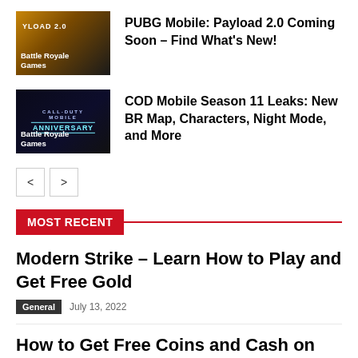[Figure (photo): PUBG Mobile Payload 2.0 thumbnail with explosion and yellow text YLOAD 2.0, labeled Battle Royale Games]
PUBG Mobile: Payload 2.0 Coming Soon – Find What's New!
[Figure (photo): Call of Duty Mobile Anniversary thumbnail with dark blue background, labeled Battle Royale Games]
COD Mobile Season 11 Leaks: New BR Map, Characters, Night Mode, and More
< >
MOST RECENT
Modern Strike – Learn How to Play and Get Free Gold
General   July 13, 2022
How to Get Free Coins and Cash on Zoo Craft: